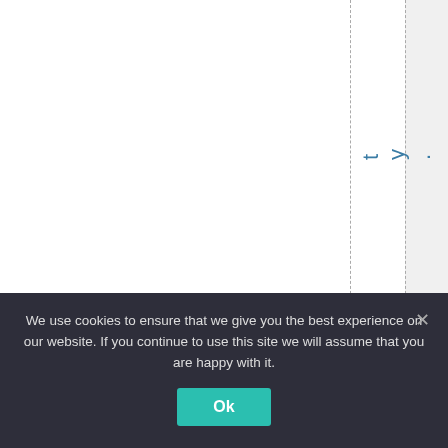ty.
That would exp
We use cookies to ensure that we give you the best experience on our website. If you continue to use this site we will assume that you are happy with it.
Ok